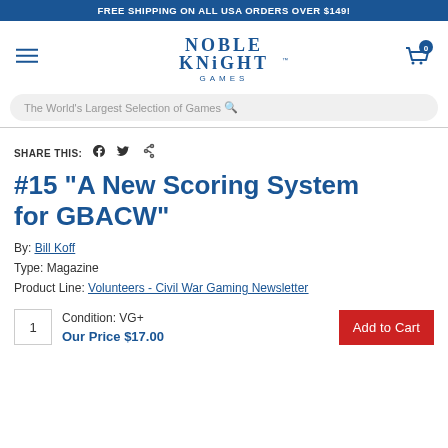FREE SHIPPING ON ALL USA ORDERS OVER $149!
[Figure (logo): Noble Knight Games logo — stylized medieval font with sword cross motif]
The World's Largest Selection of Games
SHARE THIS:
#15 "A New Scoring System for GBACW"
By: Bill Koff
Type: Magazine
Product Line: Volunteers - Civil War Gaming Newsletter
Condition: VG+
Our Price $17.00